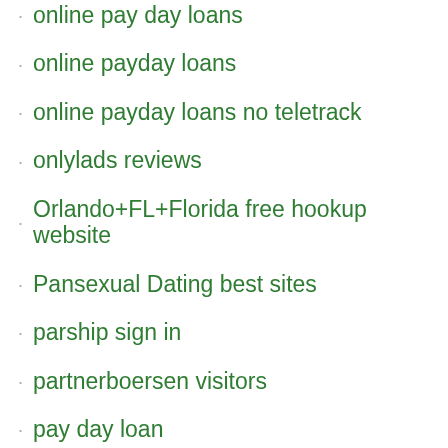online pay day loans
online payday loans
online payday loans no teletrack
onlylads reviews
Orlando+FL+Florida free hookup website
Pansexual Dating best sites
parship sign in
partnerboersen visitors
pay day loan
payday cash loans
payday installment loans near me
payday loan online